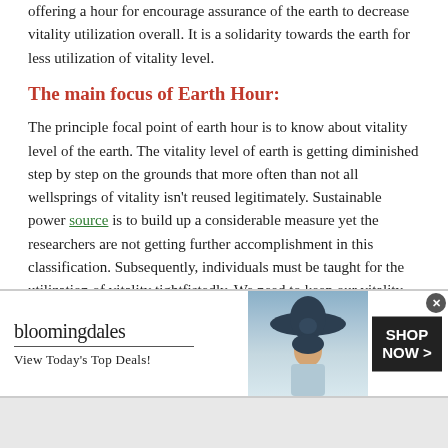offering a hour for encourage assurance of the earth to decrease vitality utilization overall. It is a solidarity towards the earth for less utilization of vitality level.
The main focus of Earth Hour:
The principle focal point of earth hour is to know about vitality level of the earth. The vitality level of earth is getting diminished step by step on the grounds that more often than not all wellsprings of vitality isn't reused legitimately. Sustainable power source is to build up a considerable measure yet the researchers are not getting further accomplishment in this classification. Subsequently, individuals must be taught for the utilization of vitality tightfistedly. We need to keep our vitality level for future generations and this should be a possible
[Figure (other): Bloomingdales advertisement banner: logo with tagline 'View Today's Top Deals!', woman with wide-brim hat, and 'SHOP NOW >' button]